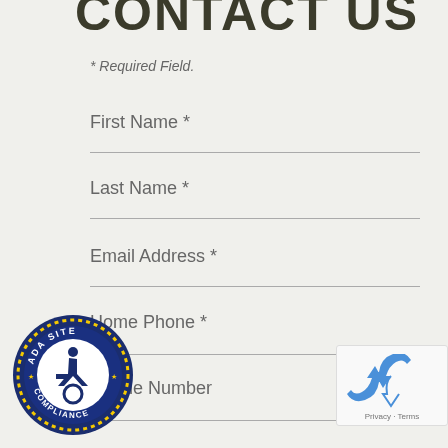CONTACT US
* Required Field.
First Name *
Last Name *
Email Address *
Home Phone *
Mobile Number
[Figure (logo): ADA Site Compliance badge with wheelchair accessibility symbol, blue circular seal with gold stars]
[Figure (screenshot): reCAPTCHA widget showing recycling arrows icon with Privacy and Terms text]